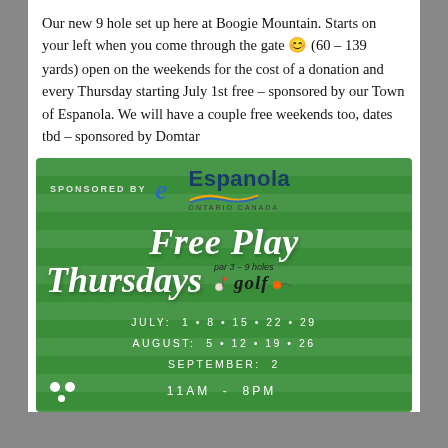Our new 9 hole set up here at Boogie Mountain. Starts on your left when you come through the gate 😊 (60 – 139 yards) open on the weekends for the cost of a donation and every Thursday starting July 1st free – sponsored by our Town of Espanola. We will have a couple free weekends too, dates tbd – sponsored by Domtar
[Figure (infographic): Green promotional poster for Free Play Thursdays golf event. Sponsored by Town of Espanola Ontario Canada logo at top. Large italic white text 'Free Play Thursdays' with annotation 'par 3 – 9 holes golf'. Dates listed: July 1·8·15·22·29, August 5·12·19·26, September 2. Hours: 11AM - 8PM. Three golf balls bottom left.]